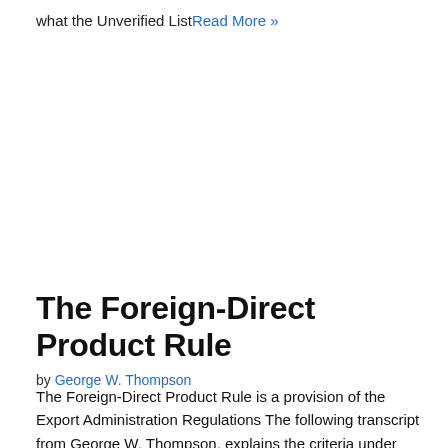what the Unverified ListRead More »
The Foreign-Direct Product Rule
by George W. Thompson
The Foreign-Direct Product Rule is a provision of the Export Administration Regulations The following transcript from George W. Thompson, explains the criteria under which some